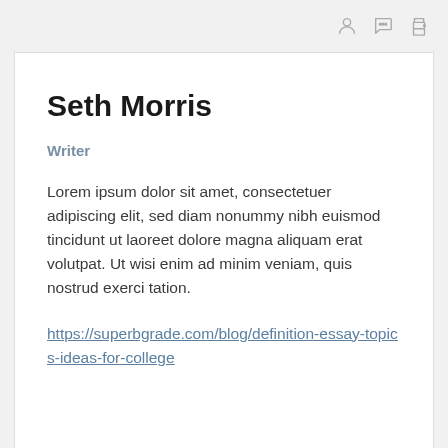[icons: user, chat, print]
Seth Morris
Writer
Lorem ipsum dolor sit amet, consectetuer adipiscing elit, sed diam nonummy nibh euismod tincidunt ut laoreet dolore magna aliquam erat volutpat. Ut wisi enim ad minim veniam, quis nostrud exerci tation.
https://superbgrade.com/blog/definition-essay-topics-ideas-for-college